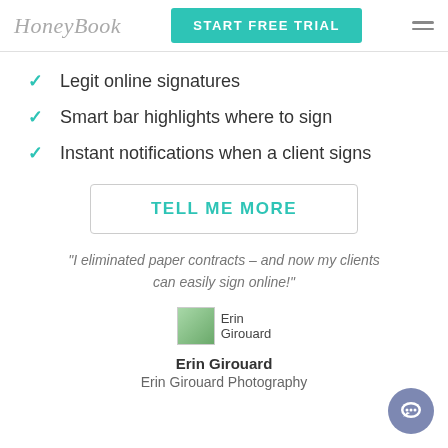HoneyBook | START FREE TRIAL
Legit online signatures
Smart bar highlights where to sign
Instant notifications when a client signs
TELL ME MORE
“I eliminated paper contracts – and now my clients can easily sign online!”
[Figure (photo): Avatar photo of Erin Girouard]
Erin Girouard
Erin Girouard Photography